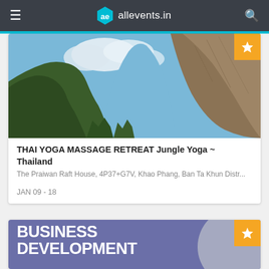allevents.in
[Figure (photo): Dramatic limestone cliffs and jungle scenery with blue sky and clouds — Thai landscape backdrop for yoga retreat event card]
THAI YOGA MASSAGE RETREAT Jungle Yoga ~ Thailand
The Praiwan Raft House, 4P37+G7V, Khao Phang, Ban Ta Khun Distr...
JAN 09 - 18
[Figure (illustration): Business Development event banner with purple/blue background, large bold white text reading BUSINESS DEVELOPMENT, decorative circle element]